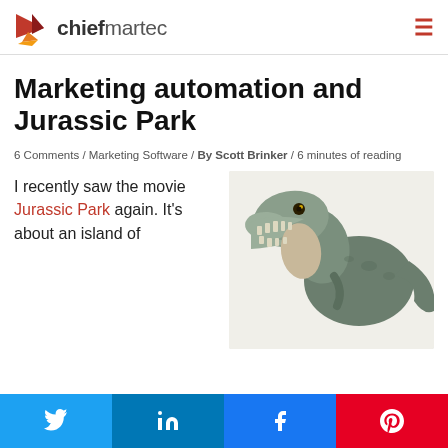chiefmartec
Marketing automation and Jurassic Park
6 Comments / Marketing Software / By Scott Brinker / 6 minutes of reading
[Figure (photo): A T-Rex dinosaur toy/model with open mouth showing teeth, side profile on white background]
I recently saw the movie Jurassic Park again. It's about an island of